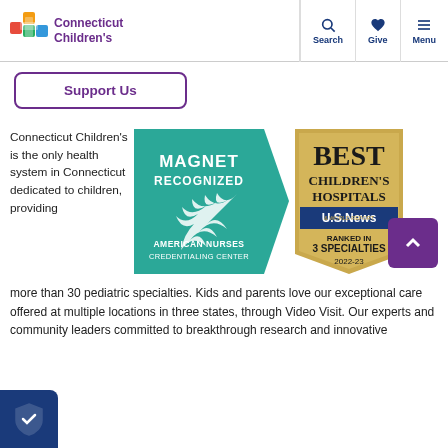Connecticut Children's | Search | Give | Menu
Support Us
Connecticut Children's is the only health system in Connecticut dedicated to children, providing more than 30 pediatric specialties. Kids and parents love our exceptional care offered at multiple locations in three states, through Video Visit. Our experts and community leaders committed to breakthrough research and innovative
[Figure (logo): Magnet Recognized - American Nurses Credentialing Center badge (teal/green chevron shape with wheat motif)]
[Figure (logo): Best Children's Hospitals - US News & World Report - Ranked in 3 Specialties 2022-23 badge (gold and navy)]